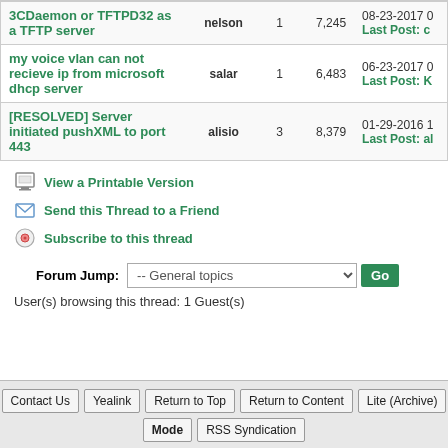| Topic | Author | Replies | Views | Last Post |
| --- | --- | --- | --- | --- |
| 3CDaemon or TFTPD32 as a TFTP server | nelson | 1 | 7,245 | 08-23-2017
Last Post: c |
| my voice vlan can not recieve ip from microsoft dhcp server | salar | 1 | 6,483 | 06-23-2017
Last Post: K |
| [RESOLVED] Server initiated pushXML to port 443 | alisio | 3 | 8,379 | 01-29-2016 1
Last Post: al |
View a Printable Version
Send this Thread to a Friend
Subscribe to this thread
Forum Jump: -- General topics  Go
User(s) browsing this thread: 1 Guest(s)
Contact Us  Yealink  Return to Top  Return to Content  Lite (Archive) Mode  RSS Syndication